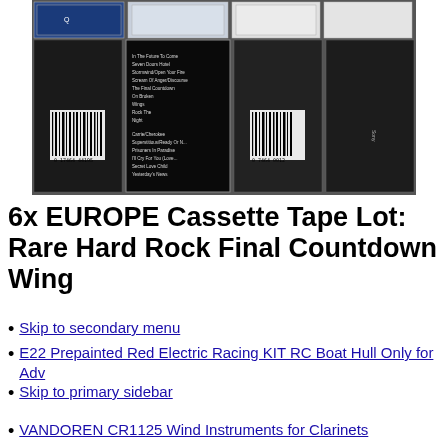[Figure (photo): Photo of multiple cassette tape cases laid flat, showing barcodes, track listings, and cassette labels including what appears to be Europe band tapes.]
6x EUROPE Cassette Tape Lot: Rare Hard Rock Final Countdown Wing
Skip to secondary menu
E22 Prepainted Red Electric Racing KIT RC Boat Hull Only for Adv
Skip to primary sidebar
VANDOREN CR1125 Wind Instruments for Clarinets